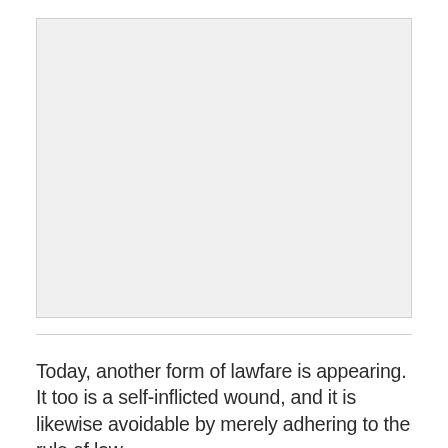[Figure (other): Gray placeholder image region at the top of the page]
Today, another form of lawfare is appearing. It too is a self-inflicted wound, and it is likewise avoidable by merely adhering to the rule of law.
Consider how reports that NATO airstrikes are causing civilian casualties are being handled by the International Security Assistance Force (ISAF) in Afghanistan. In response to queries about a report of such deaths, a spokesman